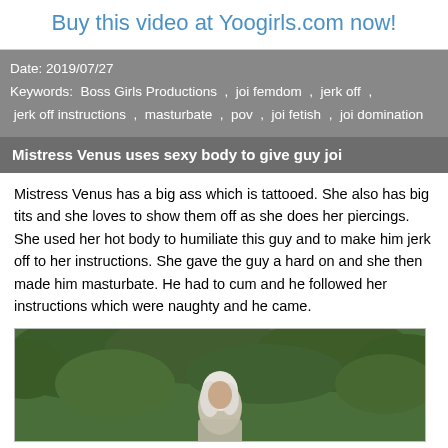Buy this video at Yoogirls.com now!
Date: 2019/07/27
Keywords: Boss Girls Productions , joi femdom , jerk off , jerk off instructions , masturbate , pov , joi fetish , joi domination
Mistress Venus uses sexy body to give guy joi
Mistress Venus has a big ass which is tattooed. She also has big tits and she loves to show them off as she does her piercings. She used her hot body to humiliate this guy and to make him jerk off to her instructions. She gave the guy a hard on and she then made him masturbate. He had to cum and he followed her instructions which were naughty and he came.
[Figure (photo): Outdoor photo of a woman with light/white hair standing in front of green bushes and trees]